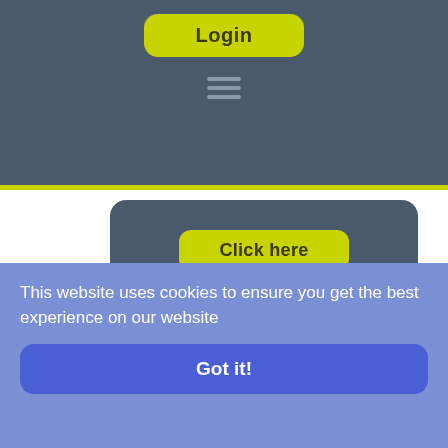Login
[Figure (screenshot): Hamburger menu icon (three horizontal lines)]
[Figure (screenshot): Click here button on dark card]
[Figure (map): Google Maps showing Waitrose & Partners Bishop's Stortford location with roads including B1004, A1250, Pantry Rd, and Bishop's Stortford town label]
This website uses cookies to ensure you get the best experience on our website
Got it!